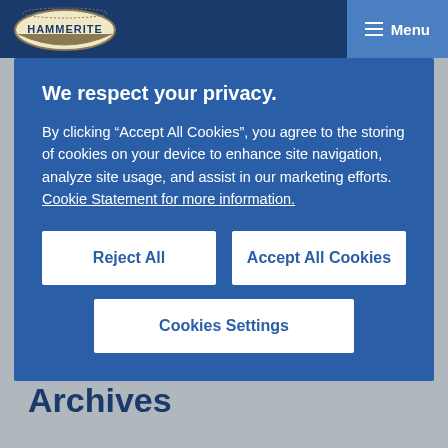[Figure (screenshot): Hammerite website header with logo and Menu button on dark blue nav bar]
We respect your privacy.
By clicking “Accept All Cookies”, you agree to the storing of cookies on your device to enhance site navigation, analyze site usage, and assist in our marketing efforts. Cookie Statement for more information.
Reject All
Accept All Cookies
Cookies Settings
Recent Comments
Archives
Categories
No categories